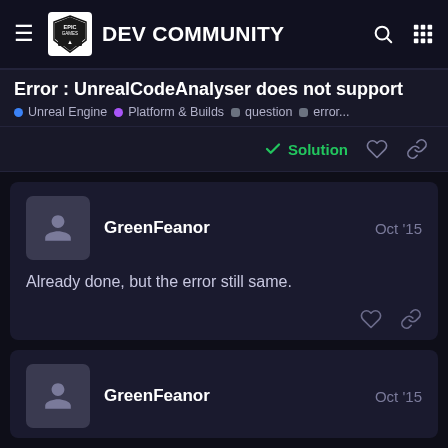Epic Games Dev Community
Error : UnrealCodeAnalyser does not support
Unreal Engine • Platform & Builds • question • error...
Solution
GreenFeanor  Oct '15
Already done, but the error still same.
GreenFeanor  Oct '15